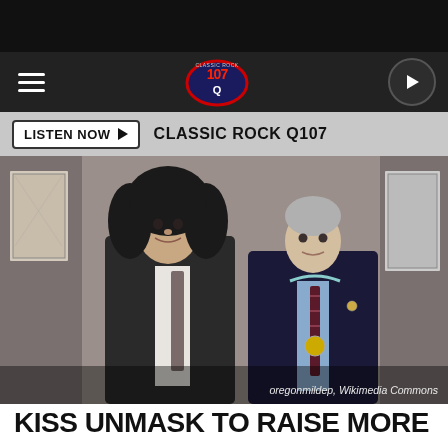[Figure (screenshot): Website screenshot showing Classic Rock Q107 radio station page. Top black bar, navigation with hamburger menu, Q107 logo in center, play button on right. Listen Now button with station name. Large photo of two men in suits posing together. Photo credit reads 'oregonmildep, Wikimedia Commons'.]
oregonmildep, Wikimedia Commons
KISS UNMASK TO RAISE MORE